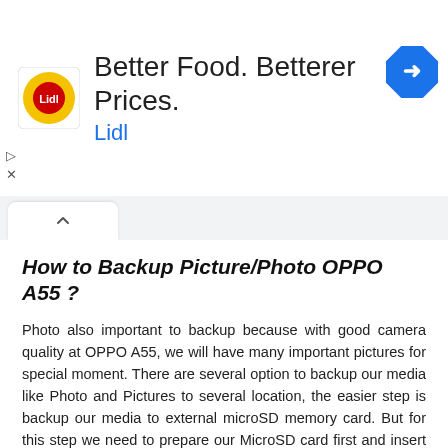[Figure (screenshot): Lidl advertisement banner with Lidl logo on left, headline 'Better Food. Betterer Prices.' and brand name 'Lidl' in blue, and a blue navigation/directions icon on the right]
How to Backup Picture/Photo OPPO A55 ?
Photo also important to backup because with good camera quality at OPPO A55, we will have many important pictures for special moment. There are several option to backup our media like Photo and Pictures to several location, the easier step is backup our media to external microSD memory card. But for this step we need to prepare our MicroSD card first and insert it into memory card slot at our OPPO A55.
Backup or Copy to External Memory Card:
Turn on OPPO A55
Open Home Screen
Find and run File Manage / File Commander